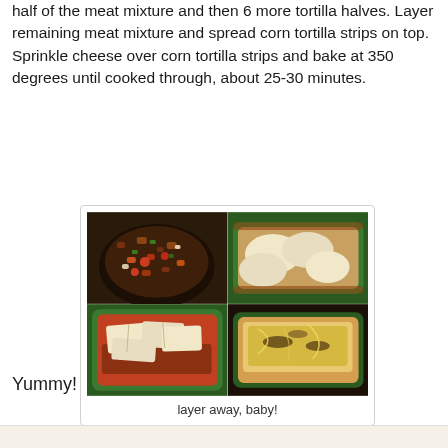half of the meat mixture and then 6 more tortilla halves. Layer remaining meat mixture and spread corn tortilla strips on top. Sprinkle cheese over corn tortilla strips and bake at 350 degrees until cooked through, about 25-30 minutes.
[Figure (photo): A four-panel photo collage showing steps of a layered tortilla dish: top-left shows a bowl of meat mixture with vegetables, top-right shows a baking dish with round tortilla halves, bottom-left shows tortilla strips layered in a baking dish, bottom-right shows cheese sprinkled on top.]
layer away, baby!
Yummy!